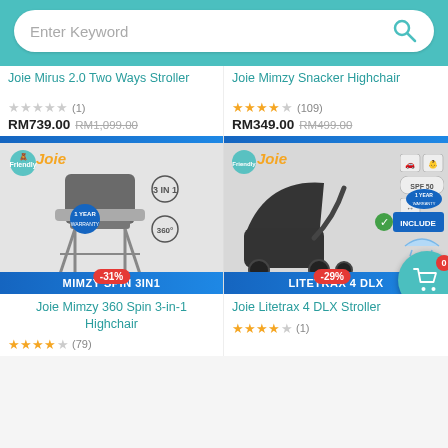Enter Keyword (search bar)
Joie Mirus 2.0 Two Ways Stroller
Joie Mimzy Snacker Highchair
★★★★★ (1) — RMт739.00 RM1,099.00
★★★★☆ (109) — RM349.00 RM499.00
[Figure (screenshot): Product image of Joie Mimzy Spin 3in1 highchair with -31% discount badge and 'MIMZY SPIN 3IN1' label bar]
[Figure (screenshot): Product image of Joie Litetrax 4 DLX stroller with -29% discount badge and 'LITETRAX 4 DLX' label bar]
Joie Mimzy 360 Spin 3-in-1 Highchair
Joie Litetrax 4 DLX Stroller
★★★★☆ (79)
★★★★☆ (1)